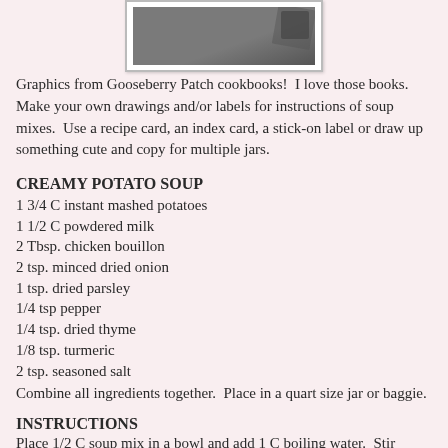[Figure (photo): A photograph partially visible at the top of the page, showing what appears to be a decorative item or cookbook graphic.]
Graphics from Gooseberry Patch cookbooks!  I love those books.  Make your own drawings and/or labels for instructions of soup mixes.  Use a recipe card, an index card, a stick-on label or draw up something cute and copy for multiple jars.
CREAMY POTATO SOUP
1 3/4 C instant mashed potatoes
1 1/2 C powdered milk
2 Tbsp. chicken bouillon
2 tsp. minced dried onion
1 tsp. dried parsley
1/4 tsp pepper
1/4 tsp. dried thyme
1/8 tsp. turmeric
2 tsp. seasoned salt
Combine all ingredients together.  Place in a quart size jar or baggie.
INSTRUCTIONS
Place 1/2 C soup mix in a bowl and add 1 C boiling water.  Stir until smooth.